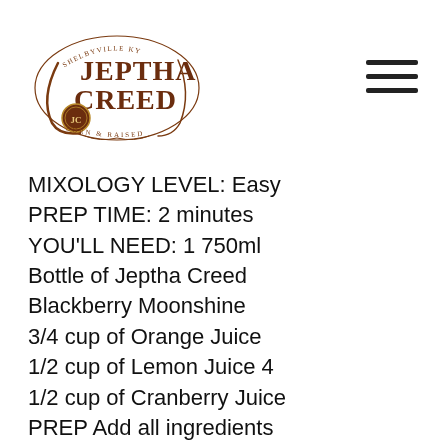[Figure (logo): Jeptha Creed distillery logo — ornate brown serif text reading 'JEPTHA CREED' with decorative flourishes, 'SHELBYVILLE KY' at top, 'BORN & RAISED' at bottom, circular badge with 'JC' monogram]
MIXOLOGY LEVEL: Easy PREP TIME: 2 minutes YOU'LL NEED: 1 750ml Bottle of Jeptha Creed Blackberry Moonshine 3/4 cup of Orange Juice 1/2 cup of Lemon Juice 4 1/2 cup of Cranberry Juice PREP Add all ingredients in a punch bowl and stir. Garnish each glass with a marshmallow ghost Peep or orange slices. Makes ...